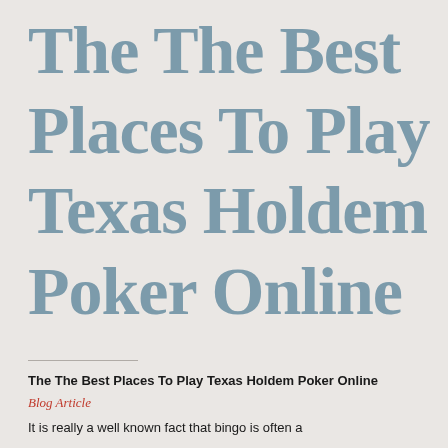The The Best Places To Play Texas Holdem Poker Online
The The Best Places To Play Texas Holdem Poker Online
Blog Article
It is really a well known fact that bingo is often a